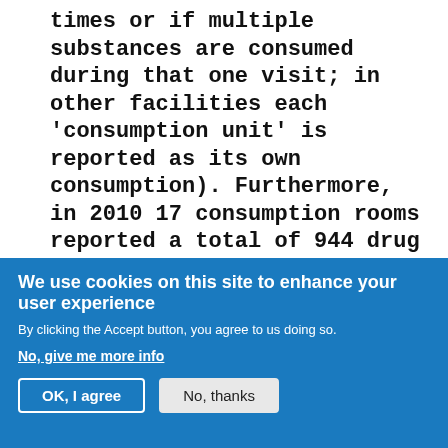times or if multiple substances are consumed during that one visit; in other facilities each 'consumption unit' is reported as its own consumption). Furthermore, in 2010 17 consumption rooms reported a total of 944 drug emergencies which could be treated in the facility directly or which could be transferred for further medical treatment."
German Reference Centre for the European Monitoring Centre for Drugs and Drug
We use cookies on this site to enhance your user experience
By clicking the Accept button, you agree to us doing so.
No, give me more info
OK, I agree
No, thanks